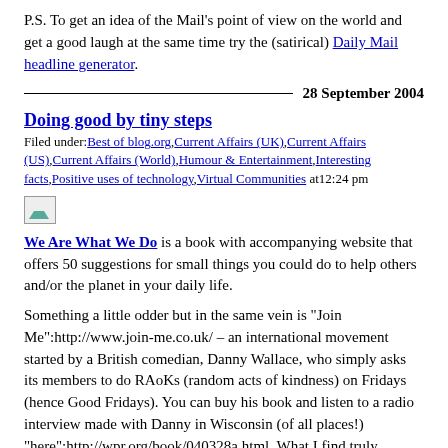P.S. To get an idea of the Mail's point of view on the world and get a good laugh at the same time try the (satirical) Daily Mail headline generator.
28 September 2004
Doing good by tiny steps
Filed under: Best of blog.org, Current Affairs (UK), Current Affairs (US), Current Affairs (World), Humour & Entertainment, Interesting facts, Positive uses of technology, Virtual Communities at 12:24 pm
[Figure (photo): Small broken/placeholder image icon]
We Are What We Do is a book with accompanying website that offers 50 suggestions for small things you could do to help others and/or the planet in your daily life.
Something a little odder but in the same vein is "Join Me":http://www.join-me.co.uk/ – an international movement started by a British comedian, Danny Wallace, who simply asks its members to do RAoKs (random acts of kindness) on Fridays (hence Good Fridays). You can buy his book and listen to a radio interview made with Danny in Wisconsin (of all places!) "here":http://wpr.org/book/040328a.html. What I find truly heartening is that thanks to something Danny started as a joke over 100,000 good deeds have been inspired. I must get around to